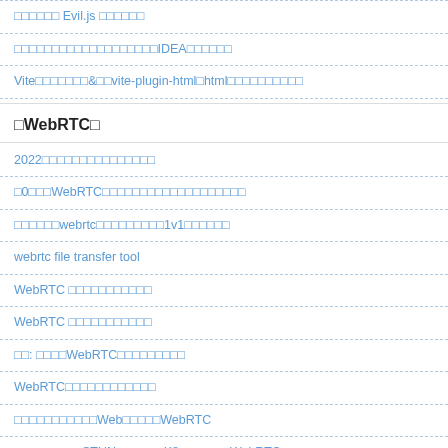□□□□□□ Evil.js □□□□□□
□□□□□□□□□□□□□□□□□□□IDEA□□□□□□
Vite□□□□□□□&□□vite-plugin-html□html□□□□□□□□□□
□WebRTC□
2022□□□□□□□□□□□□□□□
□0□□□WebRTC□□□□□□□□□□□□□□□□□□□
□□□□□□webrtc□□□□□□□□□1v1□□□□□□
webrtc file transfer tool
WebRTC □□□□□□□□□□□
WebRTC □□□□□□□□□□□
□□: □□□□WebRTC□□□□□□□□□
WebRTC□□□□□□□□□□□□
□□□□□□□□□□□Web□□□□□WebRTC
□□□□□□□□□STUNner □□□ K8s □□□□□ WebRTC □□